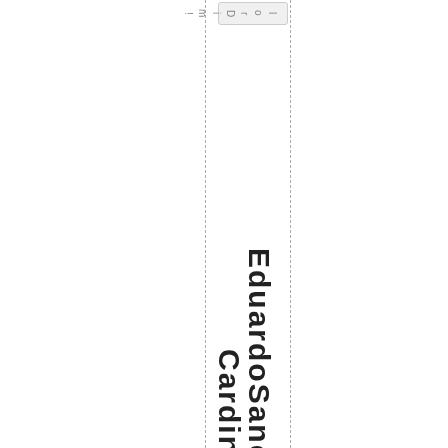lorDim!
EduardoSanchez/499–Cardinals